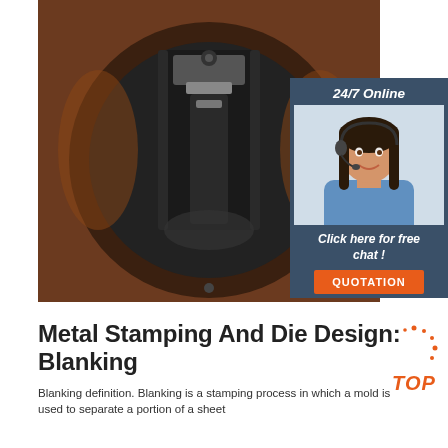[Figure (photo): Close-up photo of a metal stamping die/blanking tool showing a circular die with a dark metal punch component inside, mounted in an orange/red holder]
[Figure (photo): Online chat advertisement sidebar: '24/7 Online' with a photo of a smiling woman with headset, 'Click here for free chat!' and an orange QUOTATION button]
Metal Stamping And Die Design: Blanking
Blanking definition. Blanking is a stamping process in which a mold is used to separate a portion of a sheet